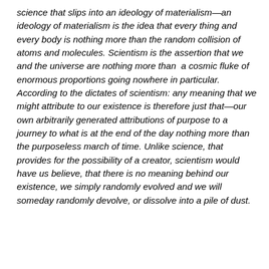science that slips into an ideology of materialism—an ideology of materialism is the idea that every thing and every body is nothing more than the random collision of atoms and molecules. Scientism is the assertion that we and the universe are nothing more than  a cosmic fluke of enormous proportions going nowhere in particular. According to the dictates of scientism: any meaning that we might attribute to our existence is therefore just that—our own arbitrarily generated attributions of purpose to a journey to what is at the end of the day nothing more than the purposeless march of time. Unlike science, that provides for the possibility of a creator, scientism would have us believe, that there is no meaning behind our existence, we simply randomly evolved and we will someday randomly devolve, or dissolve into a pile of dust.